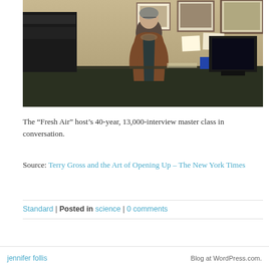[Figure (photo): A woman with short grey hair and glasses stands in an office or studio space, wearing a brown jacket over a dark shirt with a scarf. Behind her are framed pictures on the wall, audio equipment on the left, and a computer monitor on the right side of a desk.]
The “Fresh Air” host’s 40-year, 13,000-interview master class in conversation.
Source: Terry Gross and the Art of Opening Up – The New York Times
Standard | Posted in science | 0 comments
jennifer follis    Blog at WordPress.com.